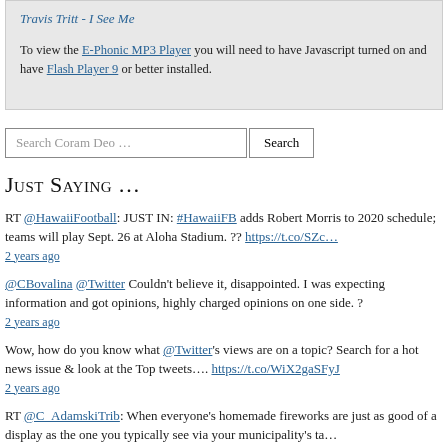Travis Tritt - I See Me
To view the E-Phonic MP3 Player you will need to have Javascript turned on and have Flash Player 9 or better installed.
Search Coram Deo …
Just Saying …
RT @HawaiiFootball: JUST IN: #HawaiiiFB adds Robert Morris to 2020 schedule; teams will play Sept. 26 at Aloha Stadium. ?? https://t.co/SZc…
2 years ago
@CBovalina @Twitter Couldn't believe it, disappointed. I was expecting information and got opinions, highly charged opinions on one side. ?
2 years ago
Wow, how do you know what @Twitter's views are on a topic? Search for a hot news issue & look at the Top tweets…. https://t.co/WiX2gaSFyJ
2 years ago
RT @C_AdamskiTrib: When everyone's homemade fireworks are just as good of a display as the one you typically see via your municipality's ta…